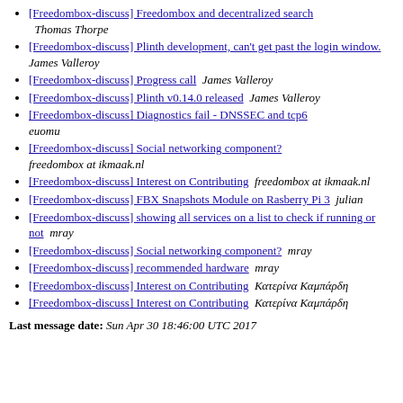[Freedombox-discuss] Freedombox and decentralized search  Thomas Thorpe
[Freedombox-discuss] Plinth development, can't get past the login window.  James Valleroy
[Freedombox-discuss] Progress call  James Valleroy
[Freedombox-discuss] Plinth v0.14.0 released  James Valleroy
[Freedombox-discuss] Diagnostics fail - DNSSEC and tcp6  euomu
[Freedombox-discuss] Social networking component?  freedombox at ikmaak.nl
[Freedombox-discuss] Interest on Contributing  freedombox at ikmaak.nl
[Freedombox-discuss] FBX Snapshots Module on Rasberry Pi 3  julian
[Freedombox-discuss] showing all services on a list to check if running or not  mray
[Freedombox-discuss] Social networking component?  mray
[Freedombox-discuss] recommended hardware  mray
[Freedombox-discuss] Interest on Contributing  Κατερίνα Καμπάρδη
[Freedombox-discuss] Interest on Contributing  Κατερίνα Καμπάρδη
Last message date: Sun Apr 30 18:46:00 UTC 2017